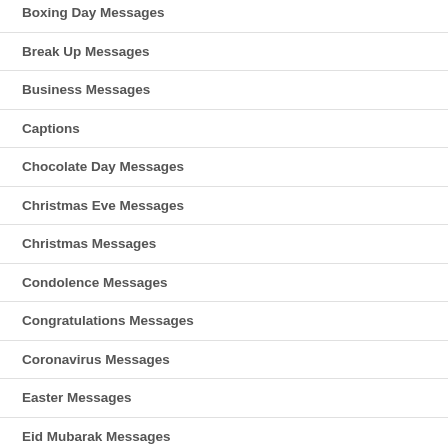Boxing Day Messages
Break Up Messages
Business Messages
Captions
Chocolate Day Messages
Christmas Eve Messages
Christmas Messages
Condolence Messages
Congratulations Messages
Coronavirus Messages
Easter Messages
Eid Mubarak Messages